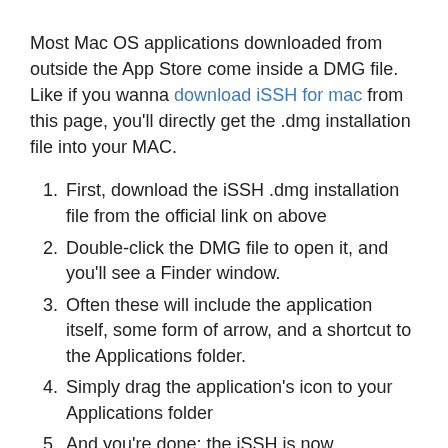Most Mac OS applications downloaded from outside the App Store come inside a DMG file. Like if you wanna download iSSH for mac from this page, you'll directly get the .dmg installation file into your MAC.
First, download the iSSH .dmg installation file from the official link on above
Double-click the DMG file to open it, and you'll see a Finder window.
Often these will include the application itself, some form of arrow, and a shortcut to the Applications folder.
Simply drag the application's icon to your Applications folder
And you're done: the iSSH is now